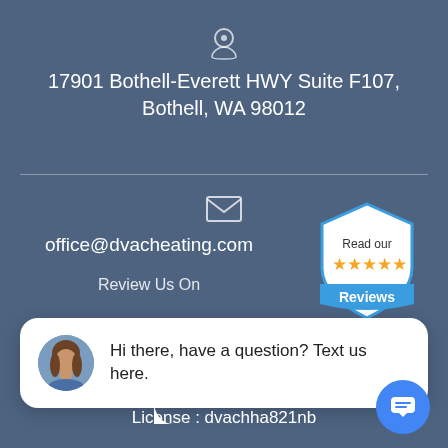[Figure (infographic): Location pin icon (map marker) in light gray/white outline style]
17901 Bothell-Everett HWY Suite F107, Bothell, WA 98012
[Figure (infographic): Envelope/email icon outline style]
office@dvacheating.com
[Figure (infographic): Read our 5-star Reviews badge - blue shield with gold stars]
Review Us On
[Figure (screenshot): Chat popup bubble showing woman avatar and text: Hi there, have a question? Text us here.]
[Figure (infographic): ID/license card icon outline style]
License : dvachha821nb